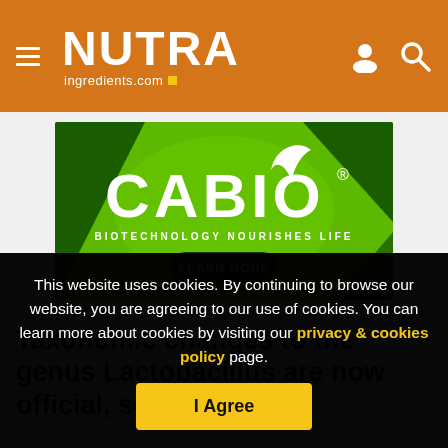NUTRAingredients.com
[Figure (illustration): CABIO Biotechnology advertisement banner — green and dark green background with CABIO® logo, tagline BIOTECHNOLOGY NOURISHES LIFE, and LEARN MORE button]
Taxonomic changes to the genus Lactobacillus are now official, so what now?
This website uses cookies. By continuing to browse our website, you are agreeing to our use of cookies. You can learn more about cookies by visiting our privacy & cookies policy page.
I Agree